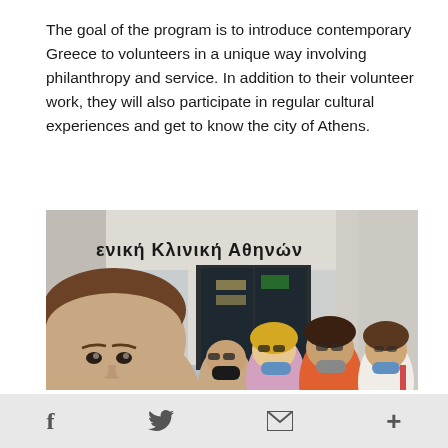The goal of the program is to introduce contemporary Greece to volunteers in a unique way involving philanthropy and service. In addition to their volunteer work, they will also participate in regular cultural experiences and get to know the city of Athens.
[Figure (photo): Group selfie photo outside Γενική Κλινική Αθηνών (General Clinic of Athens). A young man takes a close-up selfie in the foreground. Behind him, several people wearing face masks stand in front of the clinic entrance with Greek lettering 'ενική Κλινική Αθηνών' visible on the building facade. Trees are visible on both sides.]
f  [twitter bird]  [envelope]  +